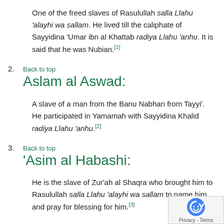One of the freed slaves of Rasulullah salla Llahu 'alayhi wa sallam. He lived till the caliphate of Sayyidina 'Umar ibn al Khattab radiya Llahu 'anhu. It is said that he was Nubian.[1]
2. Back to top
Aslam al Aswad:
A slave of a man from the Banu Nabhan from Tayyi'. He participated in Yamamah with Sayyidina Khalid radiya Llahu 'anhu.[2]
3. Back to top
'Asim al Habashi:
He is the slave of Zur'ah al Shaqra who brought him to Rasulullah salla Llahu 'alayhi wa sallam to name him and pray for blessing for him.[3]
4. Back to top